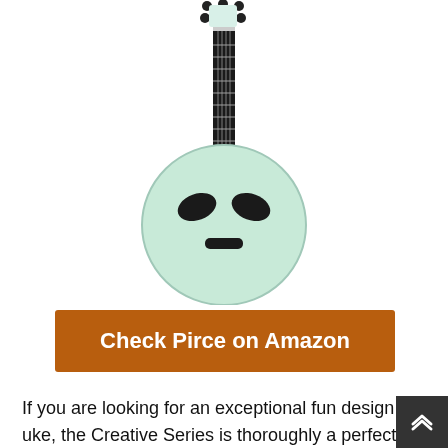[Figure (photo): An alien-shaped ukulele with a light mint/green body shaped like an alien face (oval with alien eyes and mouth cutouts as sound holes), a dark fretboard neck with tuning pegs at the top.]
Check Pirce on Amazon
If you are looking for an exceptional fun design uke, the Creative Series is thoroughly a perfect